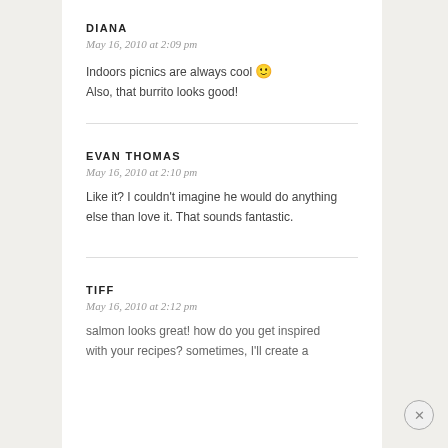DIANA
May 16, 2010 at 2:09 pm
Indoors picnics are always cool 🙂
Also, that burrito looks good!
EVAN THOMAS
May 16, 2010 at 2:10 pm
Like it? I couldn't imagine he would do anything else than love it. That sounds fantastic.
TIFF
May 16, 2010 at 2:12 pm
salmon looks great! how do you get inspired with your recipes? sometimes, I'll create a